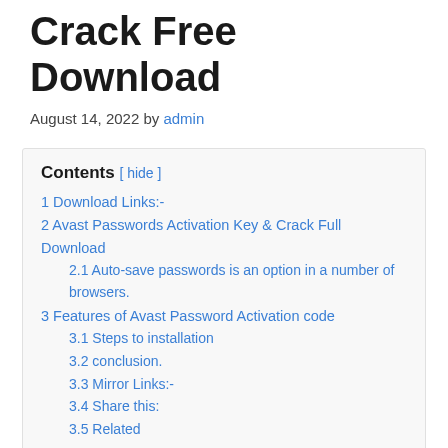Crack Free Download
August 14, 2022 by admin
1 Download Links:-
2 Avast Passwords Activation Key & Crack Full Download
2.1 Auto-save passwords is an option in a number of browsers.
3 Features of Avast Password Activation code
3.1 Steps to installation
3.2 conclusion.
3.3 Mirror Links:-
3.4 Share this:
3.5 Related